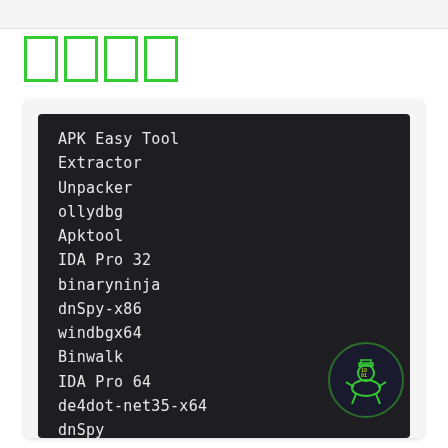□□□□
APK Easy Tool
Extractor
Unpacker
ollydbg
Apktool
IDA Pro 32
binaryninja
dnSpy-x86
windbgx64
Binwalk
IDA Pro 64
de4dot-net35-x64
dnSpy
[Figure (logo): Circular logo with green binary/matrix style figure on dark background]